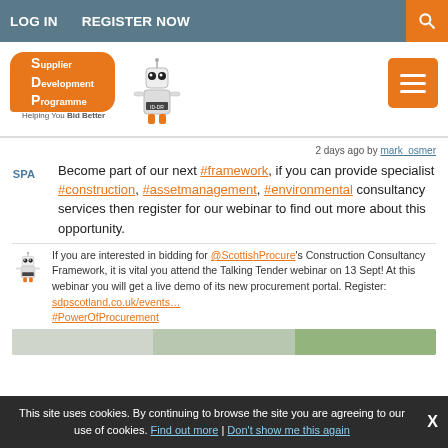LOG IN   REGISTER NOW
[Figure (logo): Supplier Development Programme logo with robot mascot and text 'Helping You Bid Better']
2 days ago by mark_osmer
Become part of our next #framework, if you can provide specialist #construction, #assetmanagement, #environmental consultancy services then register for our webinar to find out more about this opportunity.
If you are interested in bidding for @ScottishProcure's Construction Consultancy Framework, it is vital you attend the Talking Tender webinar on 13 Sept! At this webinar you will get a live demo of its new procurement portal. Register: sdpscotland.co.uk/events... #PowerOfProcurement
This site uses cookies. By continuing to browse the site you are agreeing to our use of cookies. Find out more | Don't show me this again  X